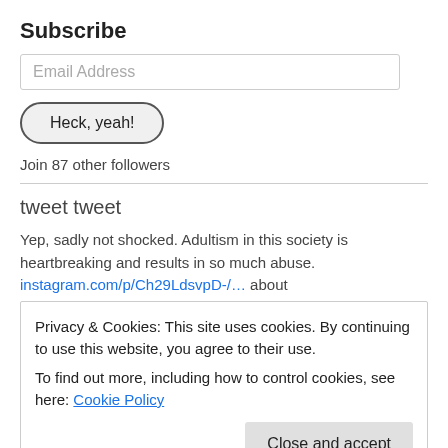Subscribe
Email Address
Heck, yeah!
Join 87 other followers
tweet tweet
Yep, sadly not shocked. Adultism in this society is heartbreaking and results in so much abuse. instagram.com/p/Ch29LdsvpD-/… about
Privacy & Cookies: This site uses cookies. By continuing to use this website, you agree to their use.
To find out more, including how to control cookies, see here: Cookie Policy
Close and accept
RT @letsgoayo: Something that gets lost in the discussions of white